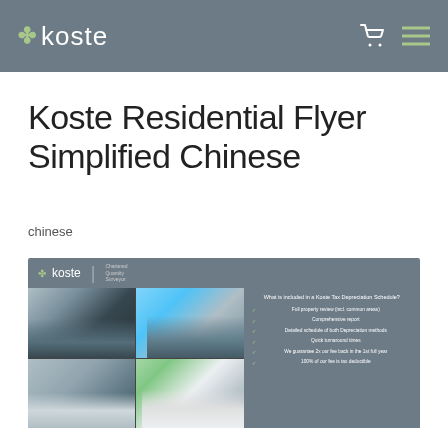koste
Koste Residential Flyer Simplified Chinese
chinese
[Figure (illustration): Preview thumbnail of the Koste Residential Flyer in Simplified Chinese. Shows a dark grey header with the Koste logo, four property images in a 2x2 grid showing modern residential buildings, and a sidebar with text 'What is included in a Koste Tax Depreciation Schedule?' followed by a checklist of items: Full property review (incl. common areas), Comprehensive report, Detailed schedule of both Depreciation methods, Quick turnaround times, We guarantee 2x our fee back in the 1st full year, 100% of our fee is tax deductible.]